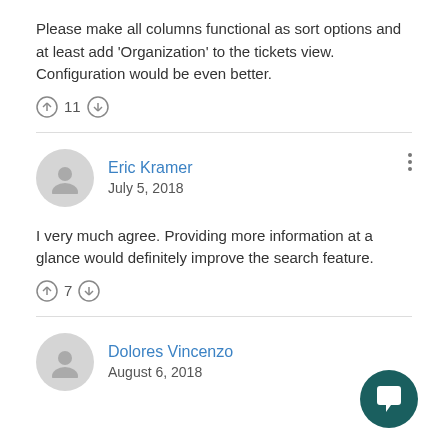Please make all columns functional as sort options and at least add 'Organization' to the tickets view.  Configuration would be even better.
↑ 11 ↓
Eric Kramer
July 5, 2018
I very much agree.  Providing more information at a glance would definitely improve the search feature.
↑ 7 ↓
Dolores Vincenzo
August 6, 2018